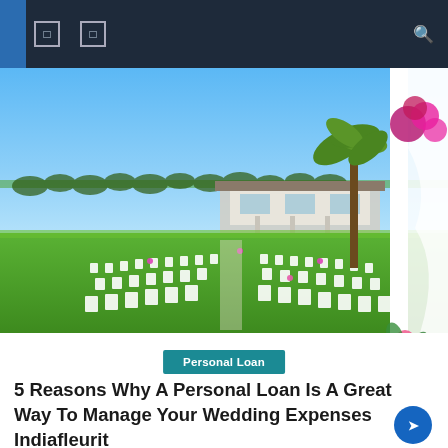Navigation bar with icons and search
[Figure (photo): Outdoor wedding venue setup with white chairs arranged in rows on a green lawn, a white fabric arch decorated with pink/purple flowers on the right, palm trees, blue sky, and a modern building in the background.]
Personal Loan
5 Reasons Why A Personal Loan Is A Great Way To Manage Your Wedding Expenses Indiafleurit